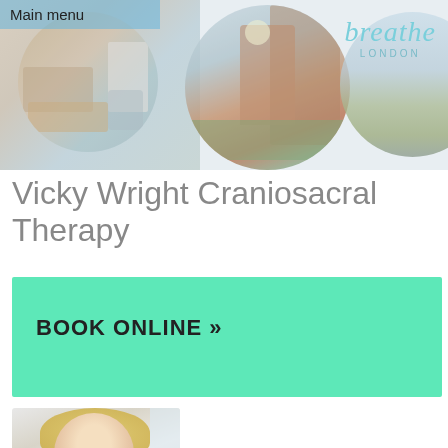Main menu
[Figure (photo): Header banner with three circular photo collages: (1) interior therapy room with massage table and furniture, (2) city scene with brick buildings and clock tower, (3) natural landscape with hills. 'breathe LONDON' logo text on right side.]
Vicky Wright Craniosacral Therapy
BOOK ONLINE »
[Figure (photo): Portrait photograph of a blonde woman, partially cropped, appearing to be in a vehicle or by a window.]